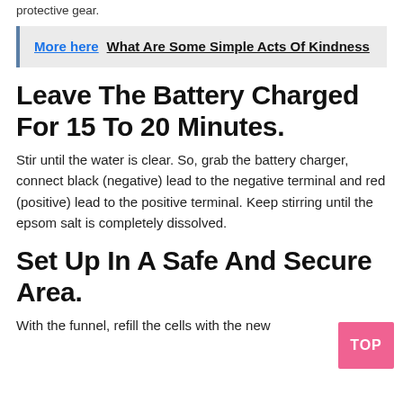protective gear.
More here  What Are Some Simple Acts Of Kindness
Leave The Battery Charged For 15 To 20 Minutes.
Stir until the water is clear. So, grab the battery charger, connect black (negative) lead to the negative terminal and red (positive) lead to the positive terminal. Keep stirring until the epsom salt is completely dissolved.
Set Up In A Safe And Secure Area.
With the funnel, refill the cells with the new